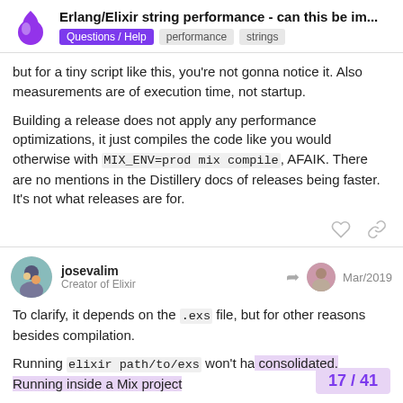Erlang/Elixir string performance - can this be im... | Questions / Help | performance | strings
but for a tiny script like this, you're not gonna notice it. Also measurements are of execution time, not startup.
Building a release does not apply any performance optimizations, it just compiles the code like you would otherwise with MIX_ENV=prod mix compile, AFAIK. There are no mentions in the Distillery docs of releases being faster. It's not what releases are for.
josevalim
Creator of Elixir
Mar/2019
To clarify, it depends on the .exs file, but for other reasons besides compilation.
Running elixir path/to/exs won't ha consolidated. Running inside a Mix project